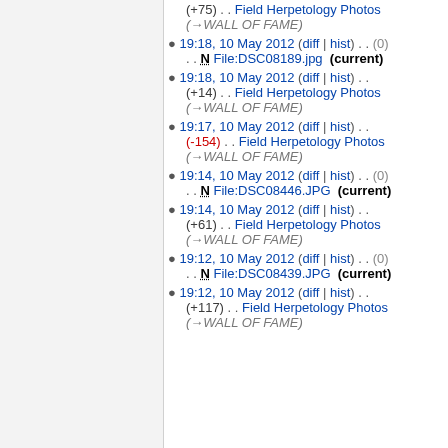(+75) . . Field Herpetology Photos (→WALL OF FAME)
19:18, 10 May 2012 (diff | hist) . . (0) . . N File:DSC08189.jpg (current)
19:18, 10 May 2012 (diff | hist) . . (+14) . . Field Herpetology Photos (→WALL OF FAME)
19:17, 10 May 2012 (diff | hist) . . (-154) . . Field Herpetology Photos (→WALL OF FAME)
19:14, 10 May 2012 (diff | hist) . . (0) . . N File:DSC08446.JPG (current)
19:14, 10 May 2012 (diff | hist) . . (+61) . . Field Herpetology Photos (→WALL OF FAME)
19:12, 10 May 2012 (diff | hist) . . (0) . . N File:DSC08439.JPG (current)
19:12, 10 May 2012 (diff | hist) . . (+117) . . Field Herpetology Photos (→WALL OF FAME)